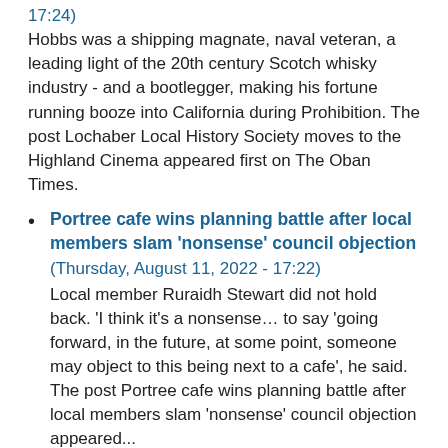17:24)
Hobbs was a shipping magnate, naval veteran, a leading light of the 20th century Scotch whisky industry - and a bootlegger, making his fortune running booze into California during Prohibition. The post Lochaber Local History Society moves to the Highland Cinema appeared first on The Oban Times.
Portree cafe wins planning battle after local members slam ‘nonsense’ council objection (Thursday, August 11, 2022 - 17:22) Local member Ruraidh Stewart did not hold back. ‘I think it’s a nonsense… to say ‘going forward, in the future, at some point, someone may object to this being next to a cafe’, he said. The post Portree cafe wins planning battle after local members slam ‘nonsense’ council objection appeared...
Man to appear in court charged in connection with Skye murder and attempted murder of three